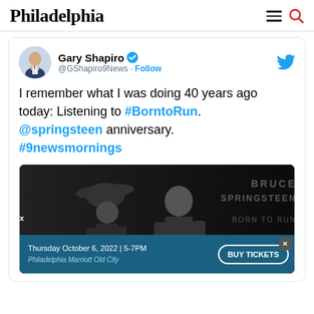Philadelphia
[Figure (screenshot): Tweet from @GShapiro9News (Gary Shapiro, verified) with text: I remember what I was doing 40 years ago today: Listening to #BorntoRun. @springsteen anniversary. #9newsmornings. Includes image of Bruce Springsteen Born to Run album cover in black and white.]
[Figure (photo): Bruce Springsteen Born to Run album cover - black and white photo of two musicians, with text overlay BRUCE SPRINGSTEEN and BORN TO RUN]
Thursday October 6, 2022 | 5-7PM Philadelphia Marriott Old City BUY TICKETS